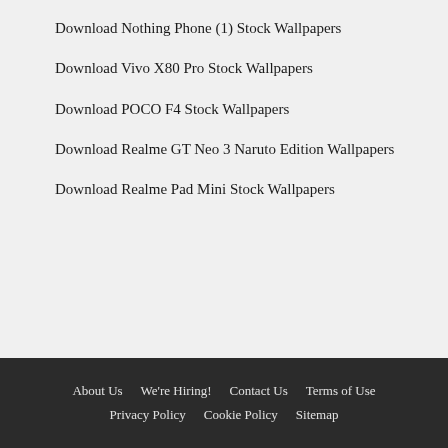Download Nothing Phone (1) Stock Wallpapers
Download Vivo X80 Pro Stock Wallpapers
Download POCO F4 Stock Wallpapers
Download Realme GT Neo 3 Naruto Edition Wallpapers
Download Realme Pad Mini Stock Wallpapers
About Us  We're Hiring!  Contact Us  Terms of Use  Privacy Policy  Cookie Policy  Sitemap